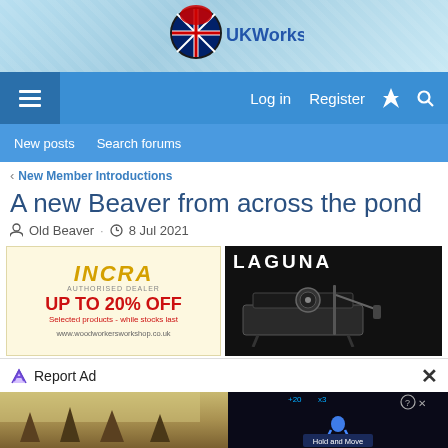UKWorkshop
Log in  Register
New posts  Search forums
< New Member Introductions
A new Beaver from across the pond
Old Beaver · 8 Jul 2021
[Figure (screenshot): INCRA Authorised Dealer advertisement: UP TO 20% OFF Selected products - while stocks last. www.woodworkersworkshop.co.uk]
[Figure (screenshot): LAGUNA tools advertisement showing a table saw]
[Figure (screenshot): UKWorkshop logo banner advertisement]
[Figure (screenshot): iTECH advertisement]
Report Ad